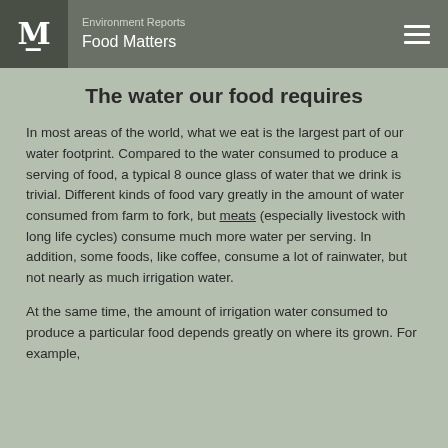Environment Reports Food Matters
The water our food requires
In most areas of the world, what we eat is the largest part of our water footprint. Compared to the water consumed to produce a serving of food, a typical 8 ounce glass of water that we drink is trivial. Different kinds of food vary greatly in the amount of water consumed from farm to fork, but meats (especially livestock with long life cycles) consume much more water per serving. In addition, some foods, like coffee, consume a lot of rainwater, but not nearly as much irrigation water.
At the same time, the amount of irrigation water consumed to produce a particular food depends greatly on where its grown. For example,